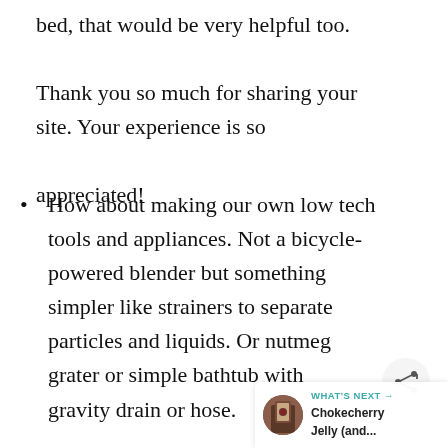bed, that would be very helpful too. Thank you so much for sharing your site. Your experience is so appreciated!
How about making our own low tech tools and appliances. Not a bicycle-powered blender but something simpler like strainers to separate particles and liquids. Or nutmeg grater or simple bathtub with gravity drain or hose.